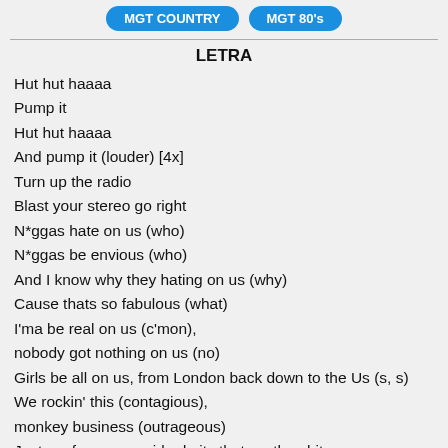MGT COUNTRY   MGT 80's
LETRA
Hut hut haaaa
Pump it
Hut hut haaaa
And pump it (louder) [4x]
Turn up the radio
Blast your stereo go right
N*ggas hate on us (who)
N*ggas be envious (who)
And I know why they hating on us (why)
Cause thats so fabulous (what)
I'ma be real on us (c'mon),
nobody got nothing on us (no)
Girls be all on us, from London back down to the Us (s, s)
We rockin' this (contagious),
monkey business (outrageous)
Just confess- your girl admits that we the shit